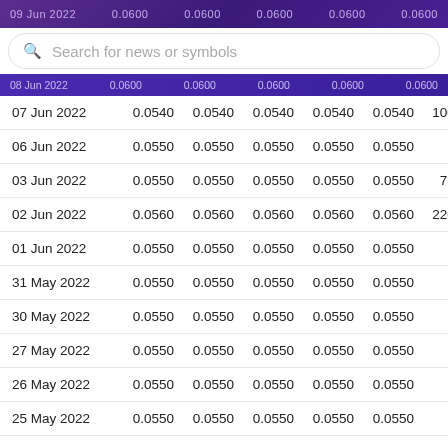09 Jun 2022  0.0600  0.0600  0.0600  0.0600  0.0600
Search for news or symbols
08 Jun 2022  0.0600  0.0600  0.0600  0.0600  0.0600
| Date | Col1 | Col2 | Col3 | Col4 | Col5 | Vol |
| --- | --- | --- | --- | --- | --- | --- |
| 07 Jun 2022 | 0.0540 | 0.0540 | 0.0540 | 0.0540 | 0.0540 | 100,0 |
| 06 Jun 2022 | 0.0550 | 0.0550 | 0.0550 | 0.0550 | 0.0550 |  |
| 03 Jun 2022 | 0.0550 | 0.0550 | 0.0550 | 0.0550 | 0.0550 | 79,0 |
| 02 Jun 2022 | 0.0560 | 0.0560 | 0.0560 | 0.0560 | 0.0560 | 220,0 |
| 01 Jun 2022 | 0.0550 | 0.0550 | 0.0550 | 0.0550 | 0.0550 |  |
| 31 May 2022 | 0.0550 | 0.0550 | 0.0550 | 0.0550 | 0.0550 |  |
| 30 May 2022 | 0.0550 | 0.0550 | 0.0550 | 0.0550 | 0.0550 |  |
| 27 May 2022 | 0.0550 | 0.0550 | 0.0550 | 0.0550 | 0.0550 |  |
| 26 May 2022 | 0.0550 | 0.0550 | 0.0550 | 0.0550 | 0.0550 |  |
| 25 May 2022 | 0.0550 | 0.0550 | 0.0550 | 0.0550 | 0.0550 |  |